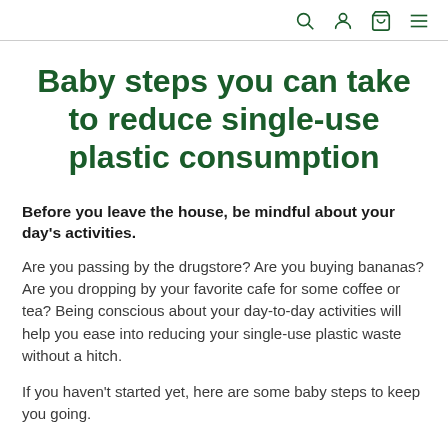[search] [account] [cart] [menu]
Baby steps you can take to reduce single-use plastic consumption
Before you leave the house, be mindful about your day's activities.
Are you passing by the drugstore? Are you buying bananas? Are you dropping by your favorite cafe for some coffee or tea? Being conscious about your day-to-day activities will help you ease into reducing your single-use plastic waste without a hitch.
If you haven't started yet, here are some baby steps to keep you going.